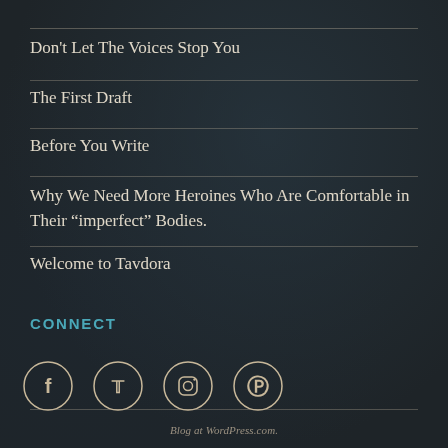Don't Let The Voices Stop You
The First Draft
Before You Write
Why We Need More Heroines Who Are Comfortable in Their “imperfect” Bodies.
Welcome to Tavdora
CONNECT
[Figure (infographic): Four social media icons in circles: Facebook, Twitter, Instagram, Pinterest]
Blog at WordPress.com.